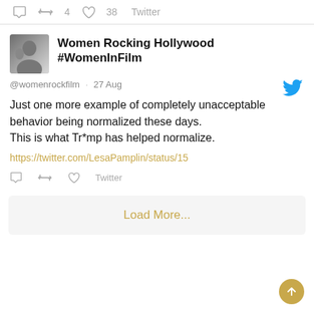↺ 4   ♡ 38   Twitter
Women Rocking Hollywood #WomenInFilm
@womenrockfilm · 27 Aug
Just one more example of completely unacceptable behavior being normalized these days.
This is what Tr*mp has helped normalize.
https://twitter.com/LesaPamplin/status/15
Twitter
Load More...